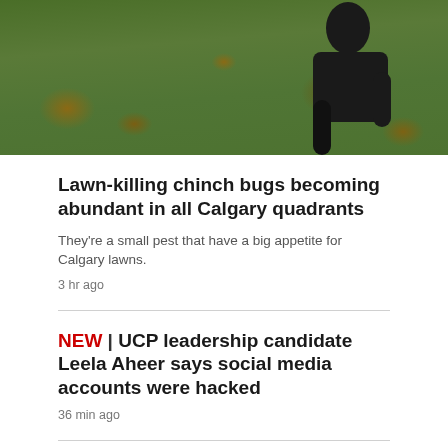[Figure (photo): Outdoor photo showing a lawn with patches of brown/bare spots in green grass. A person in a dark t-shirt is partially visible on the right side of the frame, bending down or crouching.]
Lawn-killing chinch bugs becoming abundant in all Calgary quadrants
They're a small pest that have a big appetite for Calgary lawns.
3 hr ago
NEW | UCP leadership candidate Leela Aheer says social media accounts were hacked
36 min ago
Will Alberta be handing out 'Ralph bucks' again?